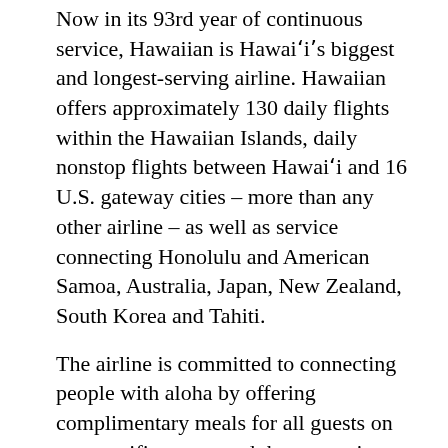Now in its 93rd year of continuous service, Hawaiian is Hawai'i's biggest and longest-serving airline. Hawaiian offers approximately 130 daily flights within the Hawaiian Islands, daily nonstop flights between Hawai'i and 16 U.S. gateway cities – more than any other airline – as well as service connecting Honolulu and American Samoa, Australia, Japan, New Zealand, South Korea and Tahiti.
The airline is committed to connecting people with aloha by offering complimentary meals for all guests on transpacific routes and the convenience of no change fees on Main Cabin and Premium Cabin seats. HawaiianMiles members also enjoy flexibility with miles that never expire. As Hawai'i's hometown airline, Hawaiian encourages guests to Travel Pono (https://youtu.be/KPcoUjCmhFg) and experience the islands safely and respectfully.